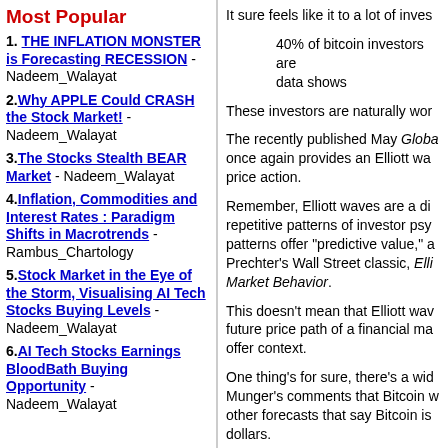Most Popular
1. THE INFLATION MONSTER is Forecasting RECESSION - Nadeem_Walayat
2. Why APPLE Could CRASH the Stock Market! - Nadeem_Walayat
3. The Stocks Stealth BEAR Market - Nadeem_Walayat
4. Inflation, Commodities and Interest Rates : Paradigm Shifts in Macrotrends - Rambus_Chartology
5. Stock Market in the Eye of the Storm, Visualising AI Tech Stocks Buying Levels - Nadeem_Walayat
6. AI Tech Stocks Earnings BloodBath Buying Opportunity - Nadeem_Walayat
It sure feels like it to a lot of inves
40% of bitcoin investors are data shows
These investors are naturally wor
The recently published May Globa once again provides an Elliott wa price action.
Remember, Elliott waves are a di repetitive patterns of investor psy patterns offer "predictive value," a Prechter's Wall Street classic, Elli Market Behavior.
This doesn't mean that Elliott wav future price path of a financial ma offer context.
One thing's for sure, there's a wid Munger's comments that Bitcoin w other forecasts that say Bitcoin is dollars.